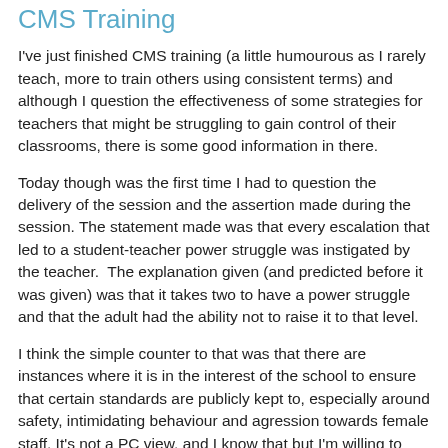CMS Training
I've just finished CMS training (a little humourous as I rarely teach, more to train others using consistent terms) and although I question the effectiveness of some strategies for teachers that might be struggling to gain control of their classrooms, there is some good information in there.
Today though was the first time I had to question the delivery of the session and the assertion made during the session. The statement made was that every escalation that led to a student-teacher power struggle was instigated by the teacher.  The explanation given (and predicted before it was given) was that it takes two to have a power struggle and that the adult had the ability not to raise it to that level.
I think the simple counter to that was that there are instances where it is in the interest of the school to ensure that certain standards are publicly kept to, especially around safety, intimidating behaviour and agression towards female staff. It's not a PC view, and I know that but I'm willing to defend it.